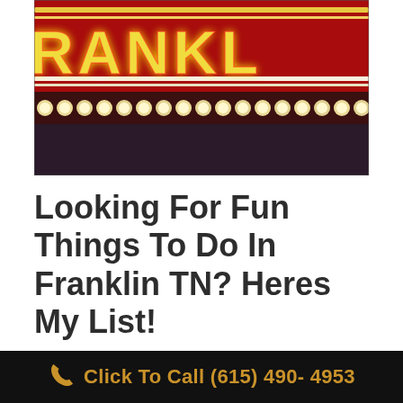[Figure (photo): Close-up of a neon sign reading 'FRANKLIN' in large red and yellow neon letters, with a row of round marquee bulb lights along the bottom edge of the sign]
Looking For Fun Things To Do In Franklin TN? Heres My List!
Click To Call (615) 490- 4953